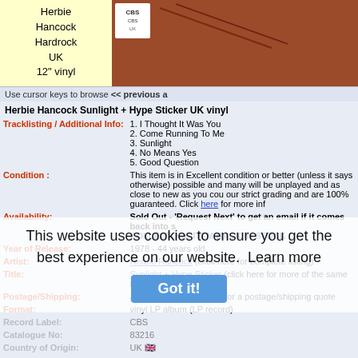[Figure (photo): Album cover image - Herbie Hancock Sunlight UK vinyl, reddish-brown background with CBS label badge visible]
Herbie Hancock Hardrock UK 12" vinyl
Use cursor keys to browse << previous a
Herbie Hancock Sunlight + Hype Sticker UK vinyl
Tracklisting / Additional Info:
1. I Thought It Was You
2. Come Running To Me
3. Sunlight
4. No Means Yes
5. Good Question
Condition : This item is in Excellent condition or better (unless it says otherwise) possible and many will be unplayed and as close to new as you cou our strict grading and are 100% guaranteed. Click here for more inf
Availability: Sold Out - 'Request Next' to get an email if it comes back into s COLLECTORS ITEM BACK IN STOCK
Year of Release: 1978 - 44 years old
Artist: Herbie Hancock (click here for complete listing)
Title: Sunlight + Hype Sticker (click here for more of the same title)
Postage/Shipping: Add item to your basket for a postage/shipping quote
Format: vinyl LP album (LP record)
Record Label: CBS
Catalogue No: 83216
Country of Origin: UK
Language: Regardless of country of origin all tracks are sung in English, unless
Additional Info: Deleted
EIL.COM Ref No: HHALPSU709570 (quote this reference in any e-mails, letters, faxes
Genres: Electronic, Jazz
Related Artists: Corea Hancock, Grandmixer D.ST, Greg Osby, Julian Priester, Mike
Complete Stock List: Herbie Hancock
email: sales@eil.com to contact our sales team
This website uses cookies to ensure you get the best experience on our website. Learn more
Got it!